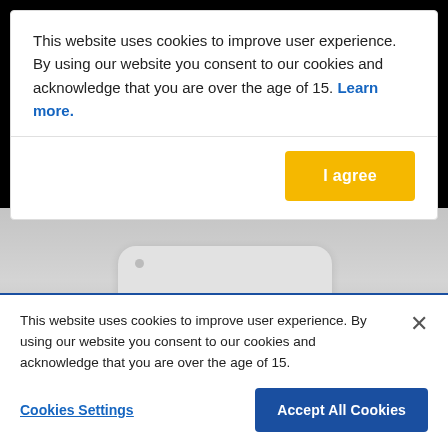This website uses cookies to improve user experience. By using our website you consent to our cookies and acknowledge that you are over the age of 15. Learn more.
I agree
[Figure (screenshot): Blurred website background showing a gray gradient with a white rounded device shape (laptop/tablet) partially visible behind the cookie consent overlays.]
This website uses cookies to improve user experience. By using our website you consent to our cookies and acknowledge that you are over the age of 15.
Cookies Settings
Accept All Cookies